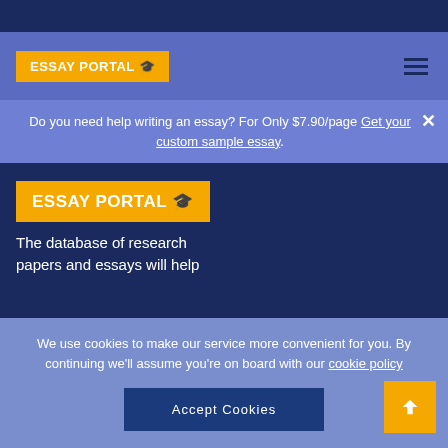[Figure (logo): Essay Portal logo with graduation cap on yellow background in navigation bar]
Do you need help writing an essay? For Only $7.90/page Get your custom sample essay.
[Figure (logo): Essay Portal logo with graduation cap on yellow background, larger version in main content area]
The database of research papers and essays will help
We use cookies to make our service more convenient for you. By continuing we'll assume you're on board with our cookie policy
Accept Cookies